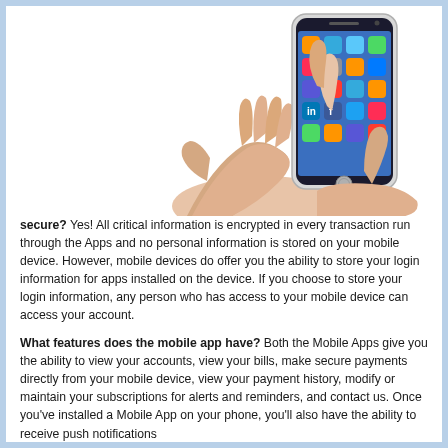[Figure (photo): Photo of two hands holding a white smartphone (iPhone), with one finger tapping the screen which shows colorful app icons including LinkedIn and Facebook.]
secure? Yes! All critical information is encrypted in every transaction run through the Apps and no personal information is stored on your mobile device. However, mobile devices do offer you the ability to store your login information for apps installed on the device. If you choose to store your login information, any person who has access to your mobile device can access your account.
What features does the mobile app have? Both the Mobile Apps give you the ability to view your accounts, view your bills, make secure payments directly from your mobile device, view your payment history, modify or maintain your subscriptions for alerts and reminders, and contact us. Once you've installed a Mobile App on your phone, you'll also have the ability to receive push notifications